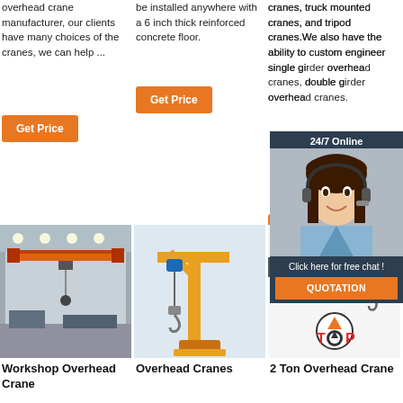overhead crane manufacturer, our clients have many choices of the cranes, we can help ...
Get Price
be installed anywhere with a 6 inch thick reinforced concrete floor.
Get Price
cranes, truck mounted cranes, and tripod cranes.We also have the ability to custom engineer single girder overhead cranes, double girder overhead cranes.
Get Price
[Figure (photo): 24/7 online customer support overlay with woman wearing headset]
[Figure (photo): Workshop Overhead Crane - industrial overhead crane in factory setting]
Workshop Overhead Crane
[Figure (illustration): Overhead Cranes - yellow jib crane with blue hoist]
Overhead Cranes
[Figure (illustration): 2 Ton Overhead Crane - wall mounted jib crane illustration]
2 Ton Overhead Crane